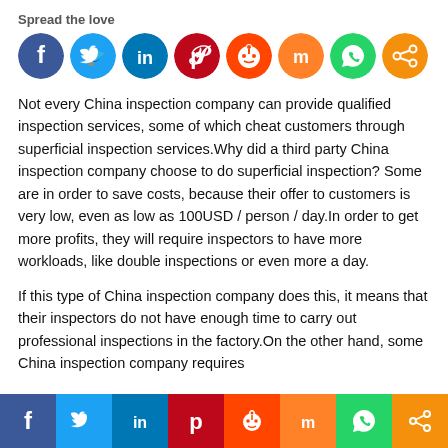Spread the love
[Figure (infographic): Row of colorful social sharing icon buttons: Facebook (blue), Twitter (light blue), LinkedIn (blue), Pinterest (red), Reddit (orange-red), Mix (orange), WhatsApp (green), Share (orange)]
Not every China inspection company can provide qualified inspection services, some of which cheat customers through superficial inspection services.Why did a third party China inspection company choose to do superficial inspection?  Some are in order to save costs, because their offer to customers is very low, even as low as 100USD / person / day.In order to get more profits, they will require inspectors to have more workloads, like double inspections or even more a day.
If this type of China inspection company does this, it means that their inspectors do not have enough time to carry out professional inspections in the factory.On the other hand, some China inspection company requires
[Figure (infographic): Bottom footer bar with colored social sharing buttons: Facebook (blue), Twitter (light blue), LinkedIn (blue), Pinterest (red), Reddit (orange-red), Mix (orange), WhatsApp (green), Share (orange)]